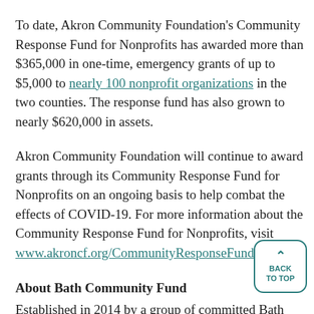To date, Akron Community Foundation's Community Response Fund for Nonprofits has awarded more than $365,000 in one-time, emergency grants of up to $5,000 to nearly 100 nonprofit organizations in the two counties. The response fund has also grown to nearly $620,000 in assets.
Akron Community Foundation will continue to award grants through its Community Response Fund for Nonprofits on an ongoing basis to help combat the effects of COVID-19. For more information about the Community Response Fund for Nonprofits, visit www.akroncf.org/CommunityResponseFundInfo.
About Bath Community Fund
Established in 2014 by a group of committed Bath residents, Bath Community Fund is a permanent endowment dedicated to strengthening the Bath